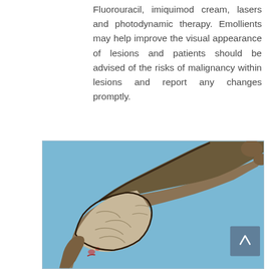Fluorouracil, imiquimod cream, lasers and photodynamic therapy. Emollients may help improve the visual appearance of lesions and patients should be advised of the risks of malignancy within lesions and report any changes promptly.
[Figure (photo): Clinical photograph showing a hand/wrist with severe skin condition — large hyperkeratotic plaques with dark borders, thickened scaly skin, and areas of erosion/inflammation on the dorsal surface, photographed against a light blue background.]